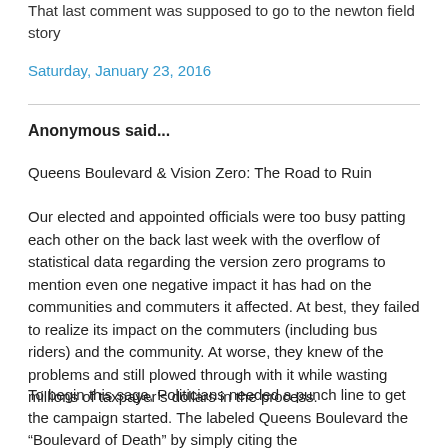That last comment was supposed to go to the newton field story
Saturday, January 23, 2016
Anonymous said...
Queens Boulevard & Vision Zero: The Road to Ruin
Our elected and appointed officials were too busy patting each other on the back last week with the overflow of statistical data regarding the version zero programs to mention even one negative impact it has had on the communities and commuters it affected. At best, they failed to realize its impact on the commuters (including bus riders) and the community. At worse, they knew of the problems and still plowed through with it while wasting millions of taxpayer’s dollars in the process.
To begin this saga, Politicians needed a punch line to get the campaign started. The labeled Queens Boulevard the “Boulevard of Death” by simply citing the